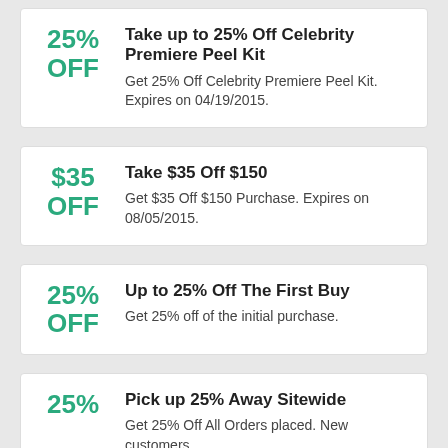Take up to 25% Off Celebrity Premiere Peel Kit
Get 25% Off Celebrity Premiere Peel Kit. Expires on 04/19/2015.
Take $35 Off $150
Get $35 Off $150 Purchase. Expires on 08/05/2015.
Up to 25% Off The First Buy
Get 25% off of the initial purchase.
Pick up 25% Away Sitewide
Get 25% Off All Orders placed. New customers...